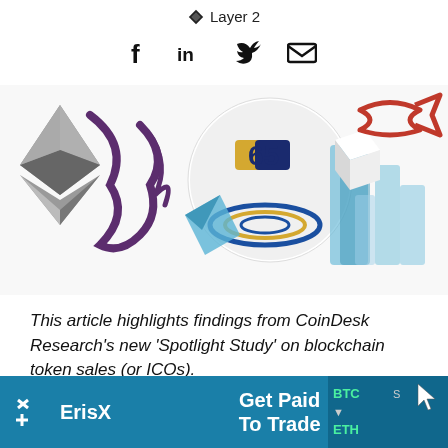Layer 2
[Figure (illustration): Social media sharing icons: Facebook (f), LinkedIn (in), Twitter bird, email envelope]
[Figure (illustration): Hero banner image with cryptocurrency logos and symbols including Ethereum diamond, blockchain token icons, fish symbol in red outline, blue chart bars, and swirling coin graphics]
This article highlights findings from CoinDesk Research's new 'Spotlight Study' on blockchain token sales (or ICOs).
[Figure (screenshot): ErisX advertisement banner: teal/dark blue background with ErisX logo on left, 'Get Paid To Trade' text in center, financial ticker data (BTC, ETH) on right with cursor icon]